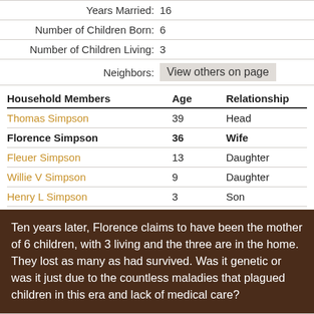|  |  |
| --- | --- |
| Years Married: | 16 |
| Number of Children Born: | 6 |
| Number of Children Living: | 3 |
| Neighbors: | View others on page |
| Household Members | Age | Relationship |
| --- | --- | --- |
| Thomas Simpson | 39 | Head |
| Florence Simpson | 36 | Wife |
| Fleuer Simpson | 13 | Daughter |
| Willie V Simpson | 9 | Daughter |
| Henry L Simpson | 3 | Son |
Ten years later, Florence claims to have been the mother of 6 children, with 3 living and the three are in the home. They lost as many as had survived. Was it genetic or was it just due to the countless maladies that plagued children in this era and lack of medical care?
Name: Florence Simpson